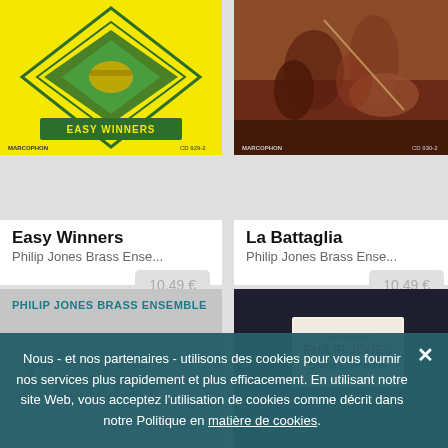[Figure (photo): Easy Winners album cover - bright yellow background with geometric diamond shapes and brass instrument, MARCOPHON label, CD 929-2]
Easy Winners
Philip Jones Brass Ense...
10,49 €
[Figure (photo): La Battaglia album cover - medieval battle scene painting with horses and soldiers, MARCOPHON label, CD 930-2]
La Battaglia
Philip Jones Brass Ense...
10,49 €
[Figure (photo): Festive album cover - Philip Jones Brass Ensemble, grey/white background with decorative Festive text in brown]
[Figure (photo): Divertimento Philip Jones Brass Ensemble album cover - dark background with red and green logo box]
Nous - et nos partenaires - utilisons des cookies pour vous fournir nos services plus rapidement et plus efficacement. En utilisant notre site Web, vous acceptez l'utilisation de cookies comme décrit dans notre Politique en matière de cookies.